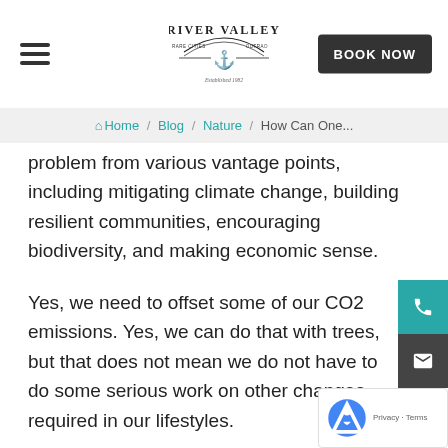River Valley — BOOK NOW
Home / Blog / Nature / How Can One...
problem from various vantage points, including mitigating climate change, building resilient communities, encouraging biodiversity, and making economic sense.
Yes, we need to offset some of our CO2 emissions. Yes, we can do that with trees, but that does not mean we do not have to do some serious work on other changes required in our lifestyles.
If blanket style planting is planned to be undertaken, local communities need to be a part of any decision